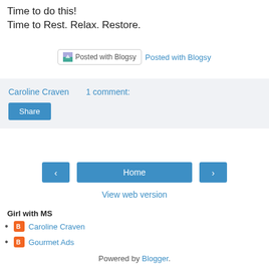Time to do this!
Time to Rest. Relax. Restore.
[Figure (screenshot): Posted with Blogsy badge/button and a 'Posted with Blogsy' link in blue]
Caroline Craven    1 comment:
Share (button)
< (previous) | Home | > (next) navigation buttons
View web version
Girl with MS
Caroline Craven
Gourmet Ads
Powered by Blogger.